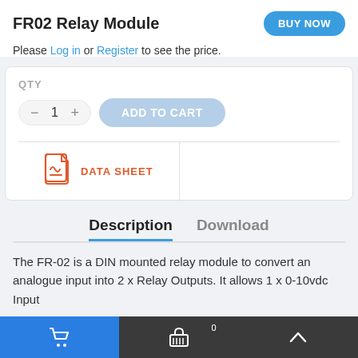FR02 Relay Module
Please Log in or Register to see the price.
QTY
ADD TO CART
[Figure (illustration): PDF icon for Data Sheet link]
DATA SHEET
Description
Download
The FR-02 is a DIN mounted relay module to convert an analogue input into 2 x Relay Outputs. It allows 1 x 0-10vdc Input